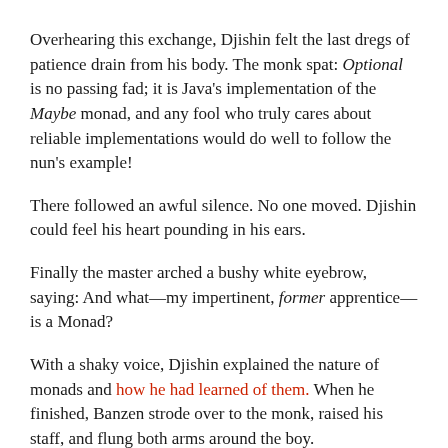Overhearing this exchange, Djishin felt the last dregs of patience drain from his body. The monk spat: Optional is no passing fad; it is Java's implementation of the Maybe monad, and any fool who truly cares about reliable implementations would do well to follow the nun's example!
There followed an awful silence. No one moved. Djishin could feel his heart pounding in his ears.
Finally the master arched a bushy white eyebrow, saying: And what—my impertinent, former apprentice—is a Monad?
With a shaky voice, Djishin explained the nature of monads and how he had learned of them. When he finished, Banzen strode over to the monk, raised his staff, and flung both arms around the boy.
At last! exclaimed the master. I have been wondering whether I'd trained a monk or a mockingbird. Now I can say to the other masters: on this day I learned two things, for at last Djishin told me something that I did not know.